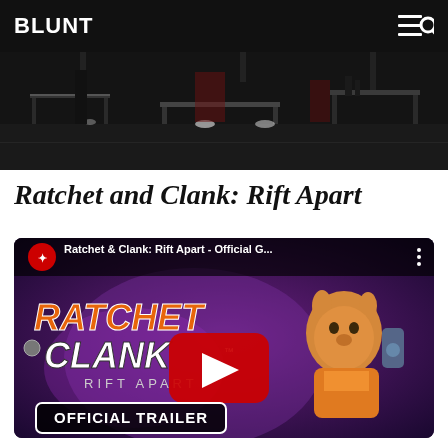BLUNT
[Figure (screenshot): Screenshot from a dark sci-fi/game scene with machinery and lights on a dark background]
Ratchet and Clank: Rift Apart
[Figure (screenshot): YouTube video embed thumbnail for Ratchet & Clank: Rift Apart - Official G... showing the game title logo with a Lombax character and OFFICIAL TRAILER banner, with a red YouTube play button in the center]